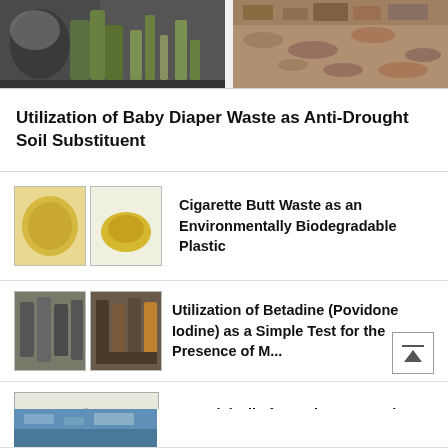[Figure (photo): Two photos side by side at top: left shows a person with plants/greenery, right shows brown soil/ground texture]
Utilization of Baby Diaper Waste as Anti-Drought Soil Substituent
[Figure (photo): Two thumbnail images: amber/yellow liquid in bowls]
Cigarette Butt Waste as an Environmentally Biodegradable Plastic
[Figure (photo): Two thumbnail images of spice jars/bottles]
Utilization of Betadine (Povidone Iodine) as a Simple Test for the Presence of M...
[Figure (engineering-diagram): Technical diagram of a distillation apparatus for extracting essential oils from plants]
Essential Oils from Plants Experiment
[Figure (photo): Partial view of another article thumbnail at the bottom (blue/teal imagery)]